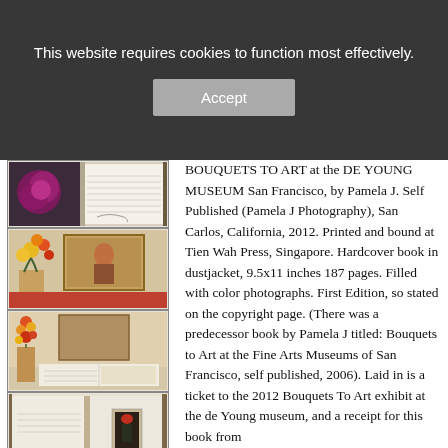This website requires cookies to function most effectively.
Accept
[Figure (photo): Thumbnail image of a book page showing a dark purple/magenta floral arrangement on the left and lined journal pages on the right]
[Figure (photo): Thumbnail image of a floral arrangement next to a painting in a museum setting]
[Figure (photo): Thumbnail image of a tall colorful floral arrangement next to a painting in a museum, book open on a table]
[Figure (photo): Thumbnail image of a book open showing a figure in red hat standing in a doorway]
BOUQUETS TO ART at the DE YOUNG MUSEUM San Francisco, by Pamela J. Self Published (Pamela J Photography), San Carlos, California, 2012. Printed and bound at Tien Wah Press, Singapore. Hardcover book in dustjacket, 9.5x11 inches 187 pages. Filled with color photographs. First Edition, so stated on the copyright page. (There was a predecessor book by Pamela J titled: Bouquets to Art at the Fine Arts Museums of San Francisco, self published, 2006). Laid in is a ticket to the 2012 Bouquets To Art exhibit at the de Young museum, and a receipt for this book from